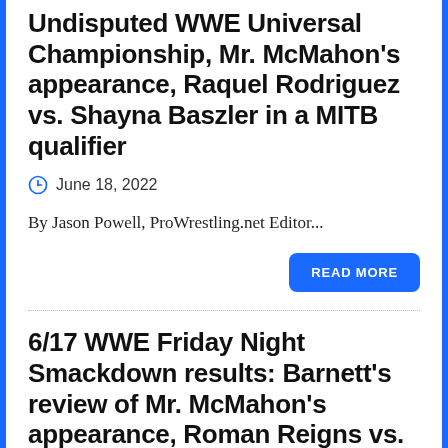Undisputed WWE Universal Championship, Mr. McMahon's appearance, Raquel Rodriguez vs. Shayna Baszler in a MITB qualifier
June 18, 2022
By Jason Powell, ProWrestling.net Editor...
READ MORE
6/17 WWE Friday Night Smackdown results: Barnett's review of Mr. McMahon's appearance, Roman Reigns vs. Riddle for the Undisputed WWE Universal Championship, Madcap Moss